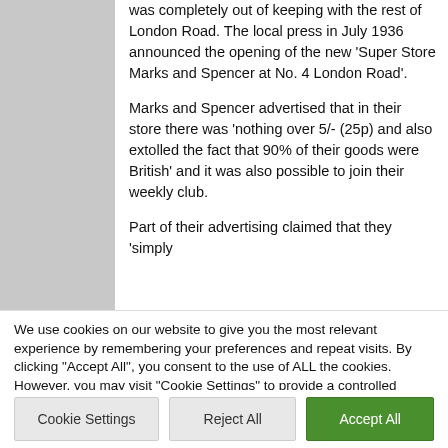was completely out of keeping with the rest of London Road. The local press in July 1936 announced the opening of the new 'Super Store Marks and Spencer at No. 4 London Road'.
Marks and Spencer advertised that in their store there was 'nothing over 5/- (25p) and also extolled the fact that 90% of their goods were British' and it was also possible to join their weekly club.
Part of their advertising claimed that they 'simply
We use cookies on our website to give you the most relevant experience by remembering your preferences and repeat visits. By clicking "Accept All", you consent to the use of ALL the cookies. However, you may visit "Cookie Settings" to provide a controlled consent.
Read More